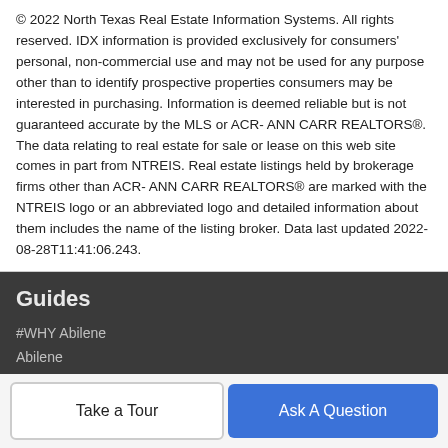© 2022 North Texas Real Estate Information Systems. All rights reserved. IDX information is provided exclusively for consumers' personal, non-commercial use and may not be used for any purpose other than to identify prospective properties consumers may be interested in purchasing. Information is deemed reliable but is not guaranteed accurate by the MLS or ACR- ANN CARR REALTORS®. The data relating to real estate for sale or lease on this web site comes in part from NTREIS. Real estate listings held by brokerage firms other than ACR- ANN CARR REALTORS® are marked with the NTREIS logo or an abbreviated logo and detailed information about them includes the name of the listing broker. Data last updated 2022-08-28T11:41:06.243.
Guides
#WHY Abilene
Abilene
Abilene ISD